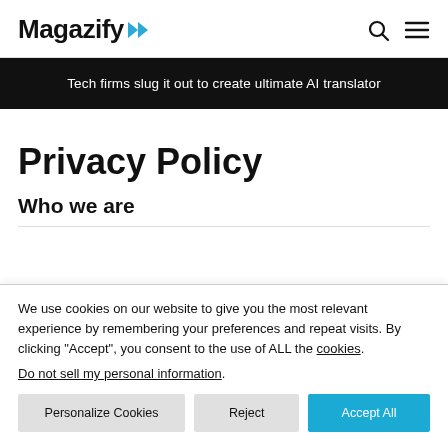Magazify
Tech firms slug it out to create ultimate AI translator
Privacy Policy
Who we are
We use cookies on our website to give you the most relevant experience by remembering your preferences and repeat visits. By clicking “Accept”, you consent to the use of ALL the cookies.
Do not sell my personal information.